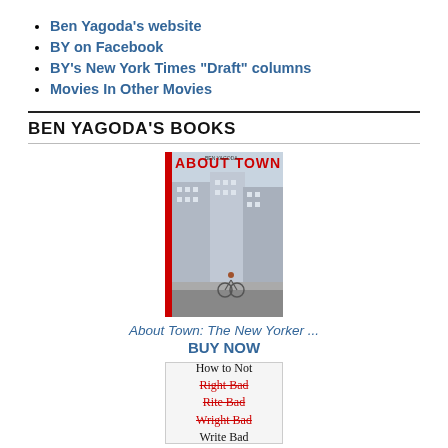Ben Yagoda's website
BY on Facebook
BY's New York Times "Draft" columns
Movies In Other Movies
BEN YAGODA'S BOOKS
[Figure (illustration): Book cover of 'About Town' by Ben Yagoda showing a city street scene with buildings, a cyclist, and the title in red letters at the top.]
About Town:  The New Yorker ...
BUY NOW
[Figure (illustration): Book cover of 'How to Not Write Bad' with strikethrough text variants: Right Bad, Rite Bad, Wright Bad, and final text Write Bad]